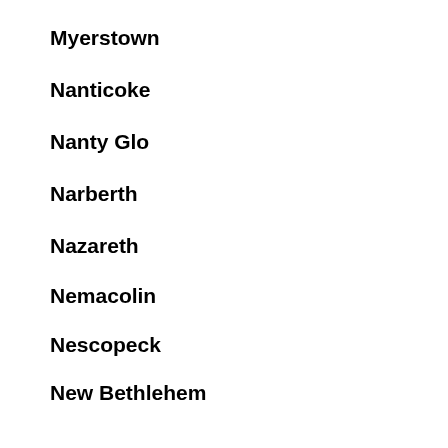Myerstown
Nanticoke
Nanty Glo
Narberth
Nazareth
Nemacolin
Nescopeck
New Bethlehem
New BLoomfield
New Brighton
New Britain